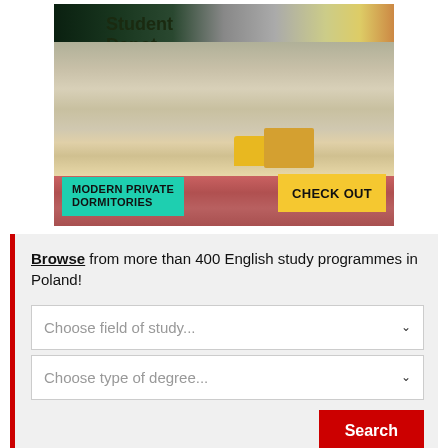[Figure (photo): Student Depot advertisement banner showing a colorful modern dormitory common area with hammock, yellow chair, orange furniture, plants, and artistic wall murals. Text overlays say 'Student Depot', 'MODERN PRIVATE DORMITORIES', and 'CHECK OUT'.]
Browse from more than 400 English study programmes in Poland!
Choose field of study...
Choose type of degree...
Search